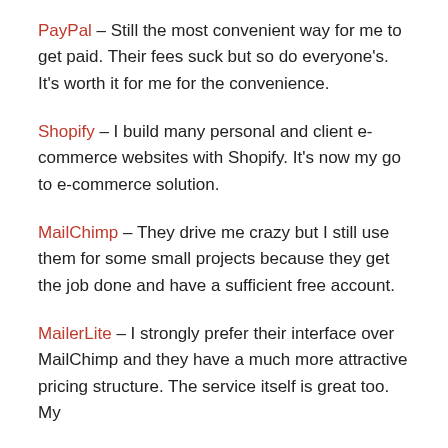PayPal – Still the most convenient way for me to get paid. Their fees suck but so do everyone's. It's worth it for me for the convenience.
Shopify – I build many personal and client e-commerce websites with Shopify. It's now my go to e-commerce solution.
MailChimp – They drive me crazy but I still use them for some small projects because they get the job done and have a sufficient free account.
MailerLite – I strongly prefer their interface over MailChimp and they have a much more attractive pricing structure. The service itself is great too. My